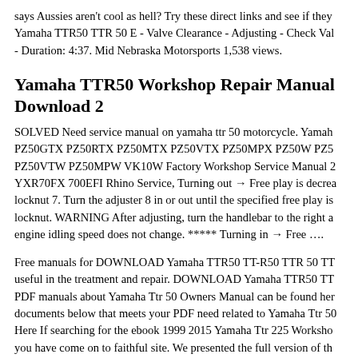says Aussies aren't cool as hell? Try these direct links and see if they Yamaha TTR50 TTR 50 E - Valve Clearance - Adjusting - Check Val - Duration: 4:37. Mid Nebraska Motorsports 1,538 views.
Yamaha TTR50 Workshop Repair Manual Download 2
SOLVED Need service manual on yamaha ttr 50 motorcycle. Yamah PZ50GTX PZ50RTX PZ50MTX PZ50VTX PZ50MPX PZ50W PZ5 PZ50VTW PZ50MPW VK10W Factory Workshop Service Manual 2 YXR70FX 700EFI Rhino Service, Turning out → Free play is decrea locknut 7. Turn the adjuster 8 in or out until the specified free play is locknut. WARNING After adjusting, turn the handlebar to the right a engine idling speed does not change. ***** Turning in → Free ....
Free manuals for DOWNLOAD Yamaha TTR50 TT-R50 TTR 50 TT useful in the treatment and repair. DOWNLOAD Yamaha TTR50 TT PDF manuals about Yamaha Ttr 50 Owners Manual can be found her documents below that meets your PDF need related to Yamaha Ttr 50 Here If searching for the ebook 1999 2015 Yamaha Ttr 225 Worksho you have come on to faithful site. We presented the full version of th